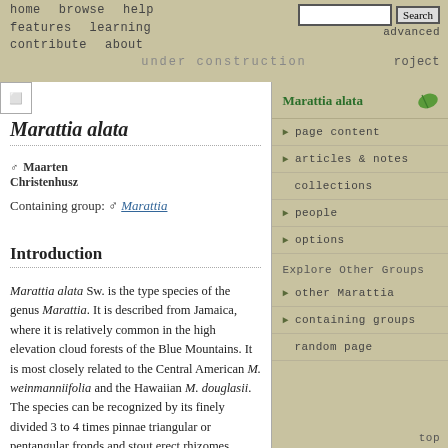home   browse   help   features   learning   contribute   about   under construction
Marattia alata
♂ Maarten Christenhusz
Containing group: ♂ Marattia
Introduction
Marattia alata Sw. is the type species of the genus Marattia. It is described from Jamaica, where it is relatively common in the high elevation cloud forests of the Blue Mountains. It is most closely related to the Central American M. weinmanniifolia and the Hawaiian M. douglasii. The species can be recognized by its finely divided 3 to 4 times pinnae triangular or pentangular fronds and stout erect rhizomes, growing
Marattia alata
page content
articles & notes
collections
people
options
Explore Other Groups
other Marattia
containing groups
random page
top